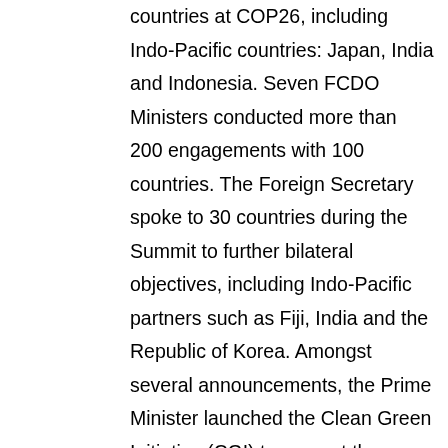countries at COP26, including Indo-Pacific countries: Japan, India and Indonesia. Seven FCDO Ministers conducted more than 200 engagements with 100 countries. The Foreign Secretary spoke to 30 countries during the Summit to further bilateral objectives, including Indo-Pacific partners such as Fiji, India and the Republic of Korea. Amongst several announcements, the Prime Minister launched the Clean Green Initiative (CGI) to support the rollout of sustainable infrastructure and revolutionary green technology in developing countries, helping to tackle climate change and boost economic growth. This initiative is a key part of the UK's contribution to the Build Back Better World initiative announced at the